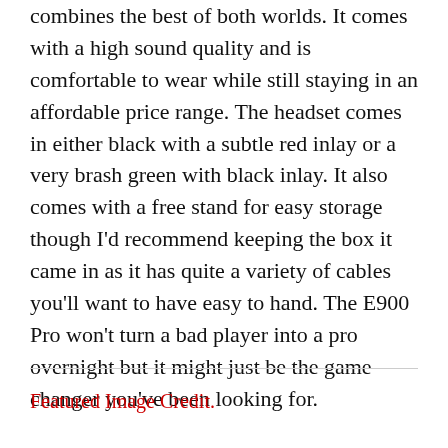combines the best of both worlds. It comes with a high sound quality and is comfortable to wear while still staying in an affordable price range. The headset comes in either black with a subtle red inlay or a very brash green with black inlay. It also comes with a free stand for easy storage though I'd recommend keeping the box it came in as it has quite a variety of cables you'll want to have easy to hand. The E900 Pro won't turn a bad player into a pro overnight but it might just be the game changer you've been looking for.
Featured Image Credit.